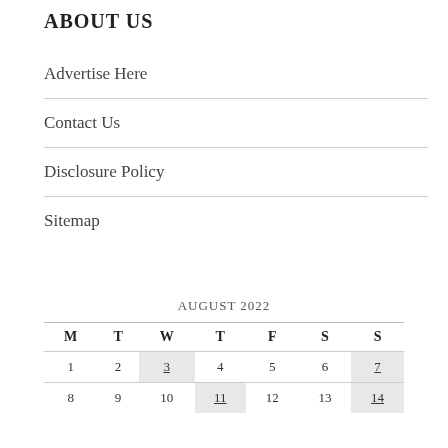ABOUT US
Advertise Here
Contact Us
Disclosure Policy
Sitemap
| M | T | W | T | F | S | S |
| --- | --- | --- | --- | --- | --- | --- |
| 1 | 2 | 3 | 4 | 5 | 6 | 7 |
| 8 | 9 | 10 | 11 | 12 | 13 | 14 |